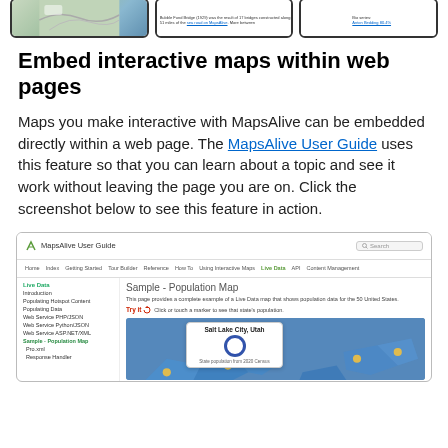[Figure (screenshot): Three mobile phone screenshots showing map-related content]
Embed interactive maps within web pages
Maps you make interactive with MapsAlive can be embedded directly within a web page. The MapsAlive User Guide uses this feature so that you can learn about a topic and see it work without leaving the page you are on. Click the screenshot below to see this feature in action.
[Figure (screenshot): Screenshot of the MapsAlive User Guide website showing the Sample - Population Map page with a map of the United States and a popup showing Salt Lake City, Utah]